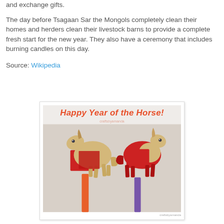and exchange gifts.
The day before Tsagaan Sar the Mongols completely clean their homes and herders clean their livestock barns to provide a complete fresh start for the new year. They also have a ceremony that includes burning candles on this day.
Source: Wikipedia
[Figure (photo): Craft paper horse puppets on sticks with text 'Happy Year of the Horse!' in orange at the top. Two horse figures: one tan/beige with orange stick, one red/beige with purple stick, both with red accents.]